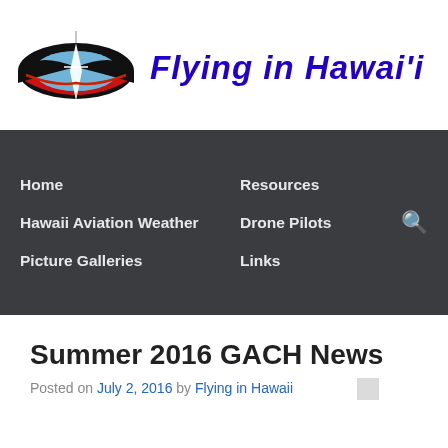[Figure (logo): Flying in Hawaii website logo — stylized bird/frigate bird eye shape with red and blue fill, black wings, vertical white diamond shape in center, with site title text 'Flying in Hawai'i' in bold blue italic]
Flying in Hawai'i
Home
Resources
Hawaii Aviation Weather
Drone Pilots
Picture Galleries
Links
Summer 2016 GACH News
Posted on July 2, 2016 by Flying in Hawaii